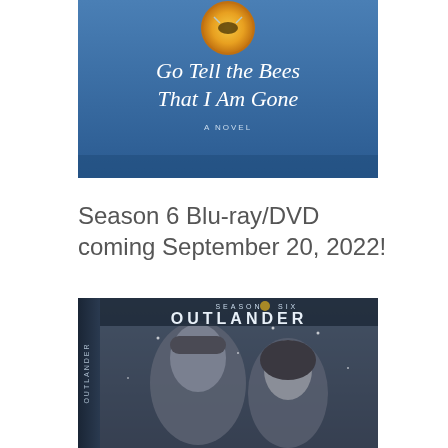[Figure (illustration): Book cover of 'Go Tell the Bees That I Am Gone' — a novel. Blue background with a golden honeybee emblem at top, italic white serif title text.]
Season 6 Blu-ray/DVD coming September 20, 2022!
[Figure (photo): DVD/Blu-ray box set cover for Outlander Season Six. Shows two characters (man and woman) in a wintry scene. Side spine reads 'OUTLANDER' vertically.]